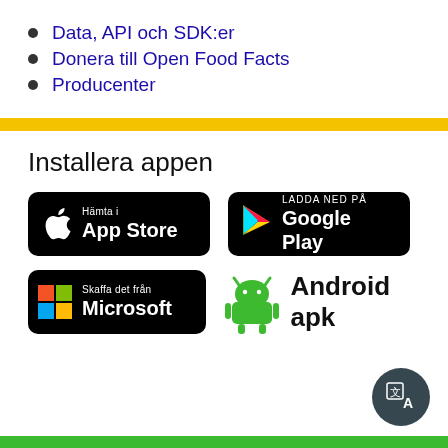Data, API och SDK:er
Donera till Open Food Facts
Producenter
Installera appen
[Figure (other): App Store badge (Hämta i App Store)]
[Figure (other): Google Play badge (LADDA NED PÅ Google Play)]
[Figure (other): Microsoft Store badge (Skaffa det från Microsoft)]
[Figure (other): Android apk badge with green Android robot icon]